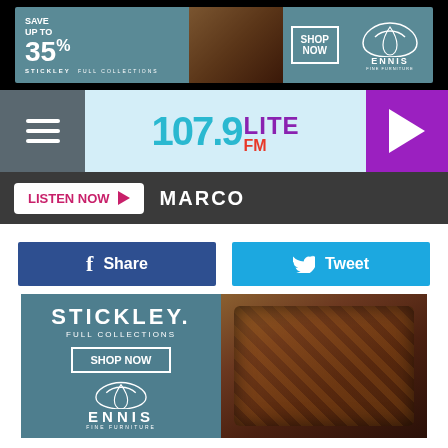[Figure (screenshot): Top advertisement banner for Stickley Full Collections at Ennis Fine Furniture, Save Up to 35%]
[Figure (screenshot): 107.9 Lite FM radio station navigation bar with hamburger menu and play button]
[Figure (screenshot): Listen Now button with MARCO text on dark bar]
[Figure (screenshot): Facebook Share and Twitter Tweet social media buttons]
[Figure (advertisement): Stickley Full Collections Shop Now advertisement with Ennis Fine Furniture logo and wooden furniture photo]
FOX's LEGO Masters is one of those realty competition
[Figure (advertisement): Bottom advertisement banner for Stickley Full Collections at Ennis Fine Furniture, Save Up to 35%]